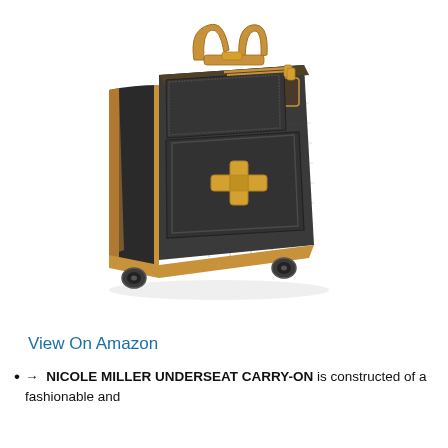[Figure (photo): Photo of a Nicole Miller underseat carry-on luggage bag. The bag is dark charcoal/black with a textured fabric exterior and tan/camel leather-look trim and handles. It has gold-tone zipper hardware, a front pocket with a decorative gold-tone hardware piece, and appears to be a compact roller bag with wheels at the bottom.]
View On Amazon
✈ NICOLE MILLER UNDERSEAT CARRY-ON is constructed of a fashionable and